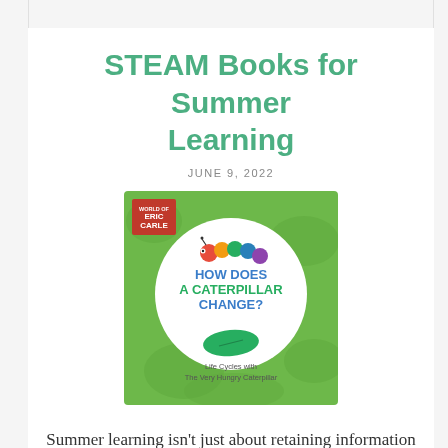STEAM Books for Summer Learning
JUNE 9, 2022
[Figure (photo): Book cover of 'How Does a Caterpillar Change? Life Cycles with The Very Hungry Caterpillar' by Eric Carle, featuring a green textured background with a white circle, a caterpillar graphic, and a leaf.]
Summer learning isn't just about retaining information from the last school year. It's also an opportunity for kids to explore their interests, or focus on one particular subject.